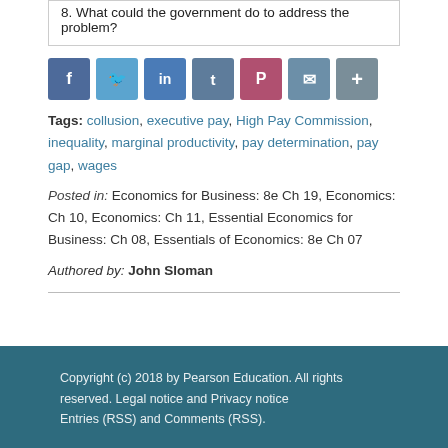8. What could the government do to address the problem?
[Figure (other): Social media sharing icons: Facebook, Twitter, LinkedIn, Tumblr, Pinterest, Email, More]
Tags: collusion, executive pay, High Pay Commission, inequality, marginal productivity, pay determination, pay gap, wages
Posted in: Economics for Business: 8e Ch 19, Economics: Ch 10, Economics: Ch 11, Essential Economics for Business: Ch 08, Essentials of Economics: 8e Ch 07
Authored by: John Sloman
Copyright (c) 2018 by Pearson Education. All rights reserved. Legal notice and Privacy notice
Entries (RSS) and Comments (RSS).